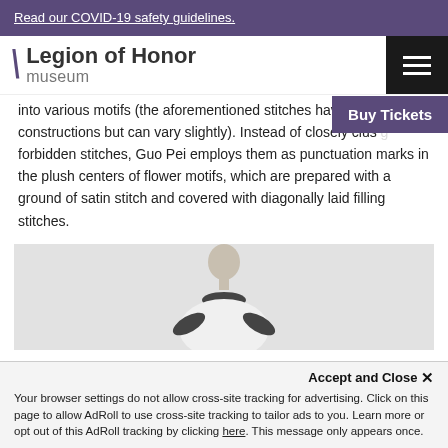Read our COVID-19 safety guidelines.
Legion of Honor museum
into various motifs (the aforementioned stitches have near constructions but can vary slightly). Instead of closely clustering forbidden stitches, Guo Pei employs them as punctuation marks in the plush centers of flower motifs, which are prepared with a ground of satin stitch and covered with diagonally laid filling stitches.
[Figure (photo): A model wearing a Guo Pei fashion piece, photographed against a light gray background. Partial view showing head and upper body.]
Accept and Close ×
Your browser settings do not allow cross-site tracking for advertising. Click on this page to allow AdRoll to use cross-site tracking to tailor ads to you. Learn more or opt out of this AdRoll tracking by clicking here. This message only appears once.